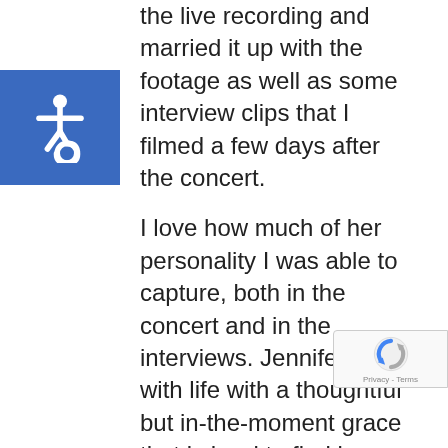the live recording and married it up with the footage as well as some interview clips that I filmed a few days after the concert.
I love how much of her personality I was able to capture, both in the concert and in the interviews. Jennifer deals with life with a thoughtful but in-the-moment grace that is hard to find in artists, and I believe that comes through loud and clear here. And she surrounds herself with wonderful people, too: the whole band was game for trying things, but gracious and helpful as well.
In all, a good time putting together a powerful package that I hope helps her sell some more albums. And a good piece showing what Hearken Creative can do on short notice.
[Figure (logo): Accessibility (wheelchair) icon in white on blue square background]
[Figure (logo): reCAPTCHA badge with Google reCAPTCHA logo and Privacy - Terms text]